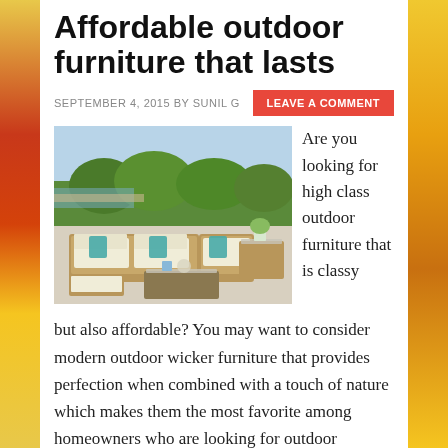Affordable outdoor furniture that lasts
SEPTEMBER 4, 2015 BY SUNIL G
[Figure (photo): Outdoor wicker sectional sofa set with cream cushions and teal accent pillows, arranged around a glass-top coffee table on a patio with greenery in the background]
Are you looking for high class outdoor furniture that is classy but also affordable? You may want to consider modern outdoor wicker furniture that provides perfection when combined with a touch of nature which makes them the most favorite among homeowners who are looking for outdoor furniture that provides for relaxation and rejuvenation. The modern […]